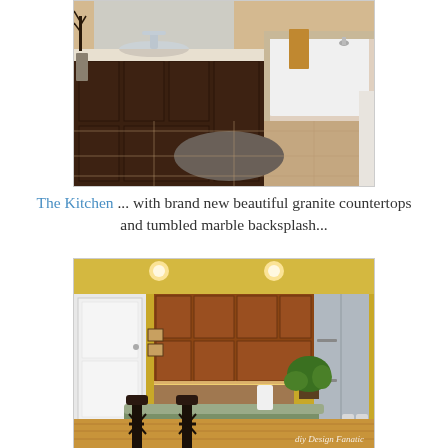[Figure (photo): Bathroom interior with dark wood double vanity, white countertop, bathtub with tiled surround, gray bath rug, and beige tile flooring.]
The Kitchen ... with brand new beautiful granite countertops and tumbled marble backsplash...
[Figure (photo): Kitchen interior with yellow walls, dark wood upper cabinets, granite countertop on a curved breakfast bar with two black bar stools, stainless steel refrigerator, recessed lighting, and a watermark reading 'diy Design Fanatic'.]